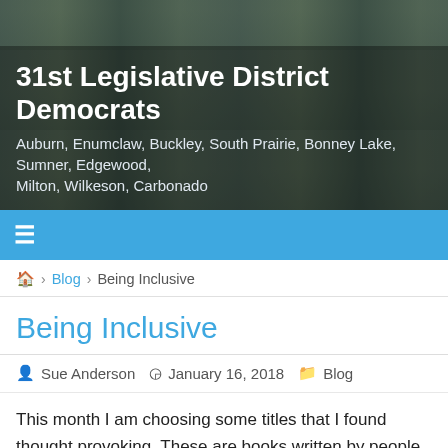31st Legislative District Democrats
Auburn, Enumclaw, Buckley, South Prairie, Bonney Lake, Sumner, Edgewood, Milton, Wilkeson, Carbonado
≡
🏠 › Blog › Being Inclusive
Being Inclusive
Sue Anderson  January 16, 2018  Blog
This month I am choosing some titles that I found thought provoking. These are books written by people from parts of America other than main stream. There are books written by and about Native Americans, Black culture in America, growing up in Appalachia and growing up in Johannesburg, South Africa. I picked these books because I think it is important for us to learn as much about all the peoples who make up America. We need to visit with